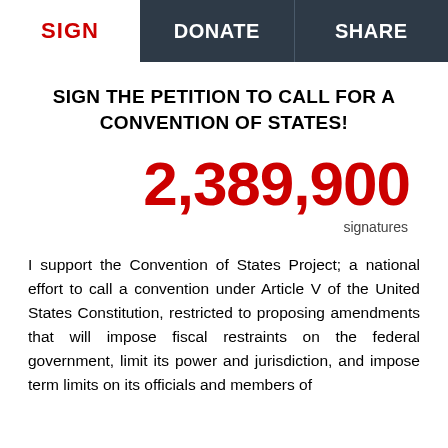SIGN | DONATE | SHARE
SIGN THE PETITION TO CALL FOR A CONVENTION OF STATES!
2,389,900
signatures
I support the Convention of States Project; a national effort to call a convention under Article V of the United States Constitution, restricted to proposing amendments that will impose fiscal restraints on the federal government, limit its power and jurisdiction, and impose term limits on its officials and members of